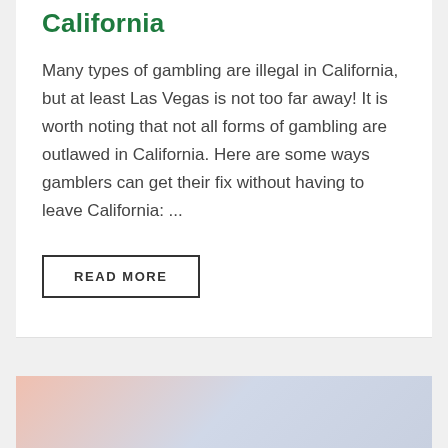California
Many types of gambling are illegal in California, but at least Las Vegas is not too far away! It is worth noting that not all forms of gambling are outlawed in California. Here are some ways gamblers can get their fix without having to leave California: ...
READ MORE
[Figure (photo): Partial view of a photo at the bottom of the page, showing blurred pink and blue/grey tones, likely a casino or gaming related image.]